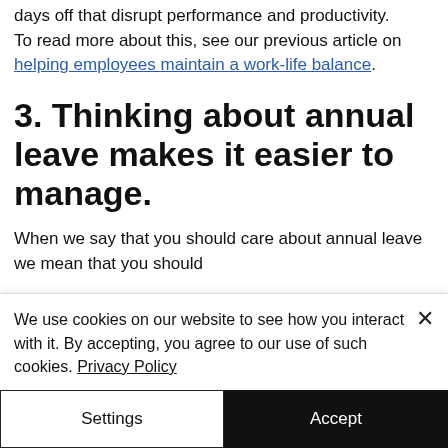days off that disrupt performance and productivity. To read more about this, see our previous article on helping employees maintain a work-life balance.
3. Thinking about annual leave makes it easier to manage.
When we say that you should care about annual leave we mean that you should
We use cookies on our website to see how you interact with it. By accepting, you agree to our use of such cookies. Privacy Policy
Settings
Accept